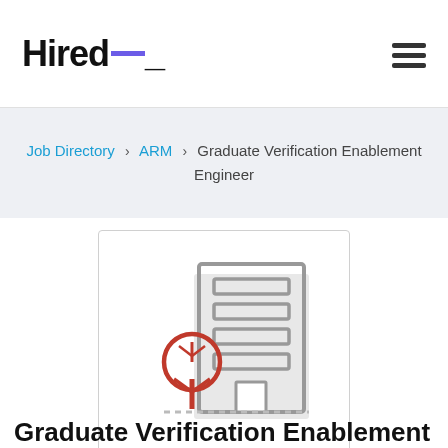Hired_
Job Directory > ARM > Graduate Verification Enablement Engineer
[Figure (illustration): Office building illustration with a red tree icon in front, showing a grey multi-story building with horizontal windows and a small entrance door]
Graduate Verification Enablement